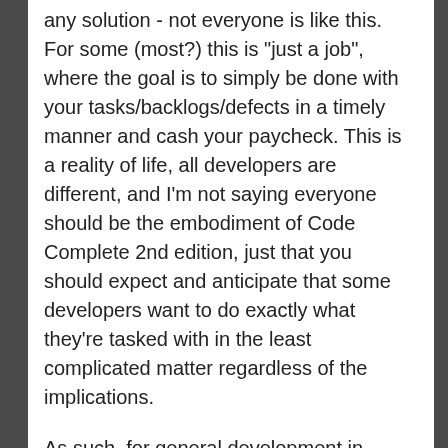any solution - not everyone is like this. For some (most?) this is "just a job", where the goal is to simply be done with your tasks/backlogs/defects in a timely manner and cash your paycheck. This is a reality of life, all developers are different, and I'm not saying everyone should be the embodiment of Code Complete 2nd edition, just that you should expect and anticipate that some developers want to do exactly what they're tasked with in the least complicated matter regardless of the implications.
As such, for general development in major projects and/or high performing solutions, I will strongly recommend database first. The developers who may not know how to do anything in SQL shouldn't be tasked with model changes that could potentially hugely affect